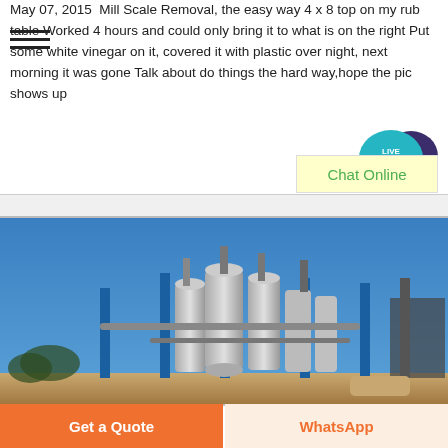May 07, 2015  Mill Scale Removal, the easy way 4 x 8 top on my rub table Worked 4 hours and could only bring it to what is on the right Put some white vinegar on it, covered it with plastic over night, next morning it was gone Talk about do things the hard way,hope the pic shows up
[Figure (infographic): Live Chat speech bubble icon in teal with white text LIVE CHAT, alongside a dark purple chat bubble]
[Figure (infographic): Chat Online button in light yellow box with green text]
[Figure (photo): Industrial facility with large silver cylindrical tanks, blue structural supports, pipes and machinery against a clear blue sky]
Get a Quote
WhatsApp